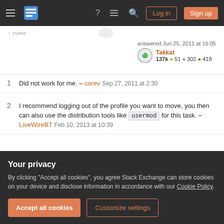Stack Exchange navigation bar with Log in and Sign up buttons
answered Jun 25, 2011 at 16:05 — Takkat 137k • 51 • 302 • 418
1   Did not work for me. – corev Sep 27, 2011 at 2:30
2   I recommend logging out of the profile you want to move, you then can also use the distribution tools like usermod for this task. – LiveWireBT Feb 10, 2013 at 10:39
It worked! Thanks. Can I remove /mnt/tmp after
Your privacy
By clicking "Accept all cookies", you agree Stack Exchange can store cookies on your device and disclose information in accordance with our Cookie Policy.
Accept all cookies   Customize settings